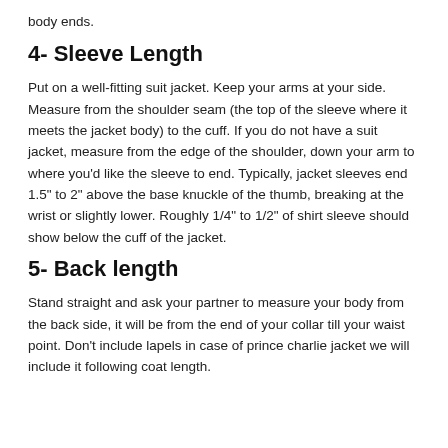body ends.
4- Sleeve Length
Put on a well-fitting suit jacket. Keep your arms at your side. Measure from the shoulder seam (the top of the sleeve where it meets the jacket body) to the cuff. If you do not have a suit jacket, measure from the edge of the shoulder, down your arm to where you'd like the sleeve to end. Typically, jacket sleeves end 1.5" to 2" above the base knuckle of the thumb, breaking at the wrist or slightly lower. Roughly 1/4" to 1/2" of shirt sleeve should show below the cuff of the jacket.
5- Back length
Stand straight and ask your partner to measure your body from the back side, it will be from the end of your collar till your waist point. Don't include lapels in case of prince charlie jacket we will include it following coat length.